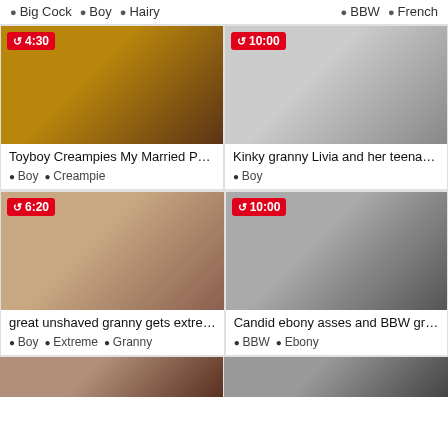● Big Cock  ● Boy  ● Hairy  |  ● BBW  ● French
[Figure (photo): Video thumbnail with duration badge 4:30. Title: Toyboy Creampies My Married P...]
Toyboy Creampies My Married P...
● Boy  ● Creampie
[Figure (photo): Video thumbnail with duration badge 10:00. Title: Kinky granny Livia and her teena...]
Kinky granny Livia and her teena...
● Boy
[Figure (photo): Video thumbnail with duration badge 6:20. Title: great unshaved granny gets extre...]
great unshaved granny gets extre...
● Boy  ● Extreme  ● Granny
[Figure (photo): Video thumbnail with duration badge 10:00. Title: Candid ebony asses and BBW gr...]
Candid ebony asses and BBW gr...
● BBW  ● Ebony